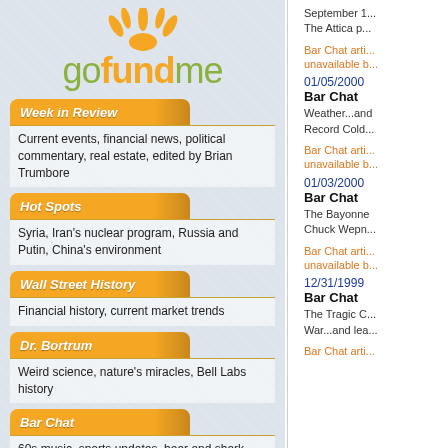[Figure (logo): GoFundMe logo with orange sun rays icon above green and orange text]
Week in Review
Current events, financial news, political commentary, real estate, edited by Brian Trumbore
Hot Spots
Syria, Iran's nuclear program, Russia and Putin, China's environment
Wall Street History
Financial history, current market trends
Dr. Bortrum
Weird science, nature's miracles, Bell Labs history
Bar Chat
60s music, sports updates, bear and shark attacks, elephants gone wild
Lamb in Command
Cartoon by Harry Trumbore
September 1...
The Attica p...
Bar Chat article unavailable b...
01/05/2000
Bar Chat
Weather...and
Record Cold...
Bar Chat article unavailable b...
01/03/2000
Bar Chat
The Bayonne
Chuck Wepn...
Bar Chat article unavailable b...
12/31/1999
Bar Chat
The Tragic C...
War...and lea...
Bar Chat arti...